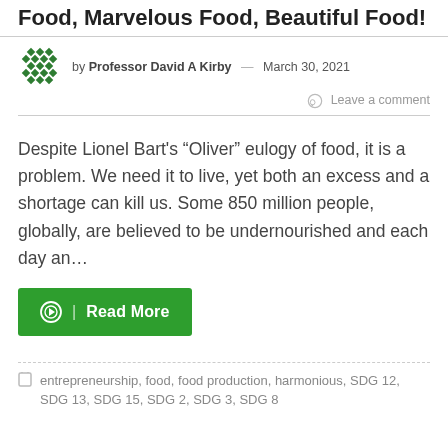Food, Marvelous Food, Beautiful Food!
by Professor David A Kirby — March 30, 2021
Leave a comment
Despite Lionel Bart's “Oliver” eulogy of food, it is a problem. We need it to live, yet both an excess and a shortage can kill us. Some 850 million people, globally, are believed to be undernourished and each day an...
Read More
entrepreneurship, food, food production, harmonious, SDG 12, SDG 13, SDG 15, SDG 2, SDG 3, SDG 8